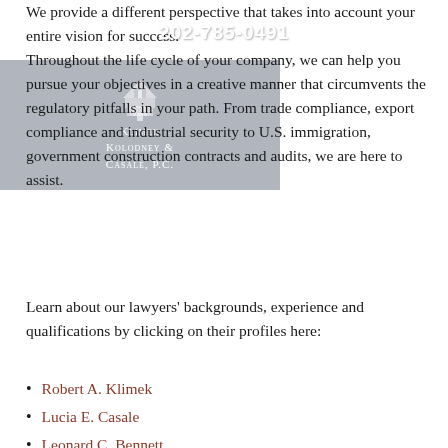We provide a different perspective that takes into account your entire vision for success. Throughout the life cycle of your company, we can help you pursue your objectives in a creative manner that circumvents the regulatory pitfalls in your path. From trade compliance, export compliance and industrial security to U.S. immigration, government construction contracts and audits, we are here to assist.
[Figure (logo): Klimek Kolodney & Casale, P.C. law firm logo with building/capitol icon, shown as a grey watermark overlay with phone number 202-785-0491]
Learn about our lawyers’ backgrounds, experience and qualifications by clicking on their profiles here:
Robert A. Klimek
Lucia E. Casale
Leonard C. Bennett